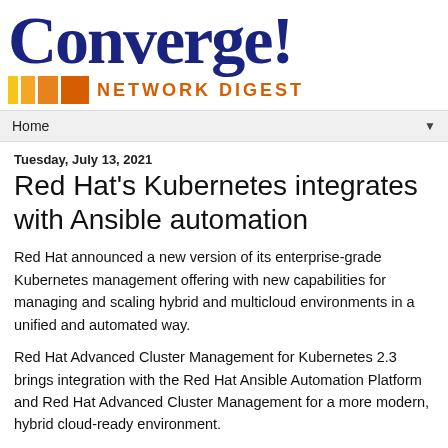[Figure (logo): Converge! Network Digest logo with colorful square blocks and orange text]
Home ▼
Tuesday, July 13, 2021
Red Hat's Kubernetes integrates with Ansible automation
Red Hat announced a new version of its enterprise-grade Kubernetes management offering with new capabilities for managing and scaling hybrid and multicloud environments in a unified and automated way.
Red Hat Advanced Cluster Management for Kubernetes 2.3 brings integration with the Red Hat Ansible Automation Platform and Red Hat Advanced Cluster Management for a more modern, hybrid cloud-ready environment.